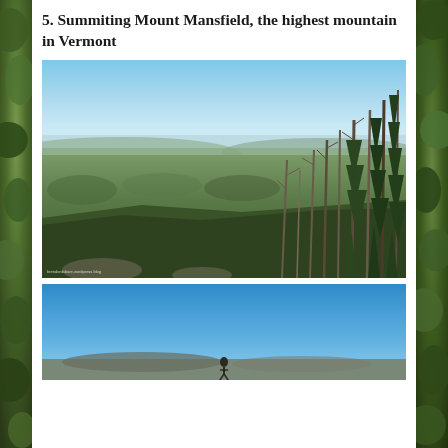5.  Summiting Mount Mansfield, the highest mountain in Vermont
[Figure (photo): Aerial view from near the summit of Mount Mansfield, Vermont. Shows a vast green forested valley below with blue hazy horizon, and sparse dead/evergreen conifer trees in the foreground on a rocky slope. Small watermark text in lower left.]
[Figure (photo): Second mountain photo showing a vivid blue sky at the top and what appears to be a rocky/open summit area at the bottom with a small figure visible.]